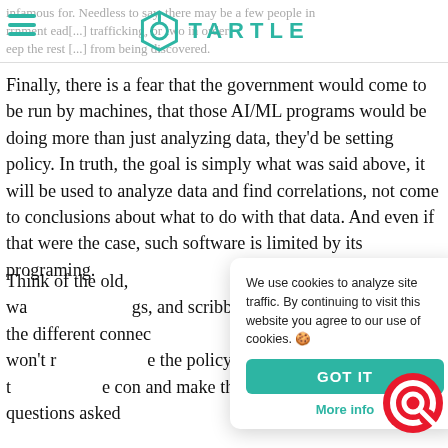TARTLE
Finally, there is a fear that the government would come to be run by machines, that those AI/ML programs would be doing more than just analyzing data, they'd be setting policy. In truth, the goal is simply what was said above, it will be used to analyze data and find correlations, not come to conclusions about what to do with that data. And even if that were the case, such software is limited by its programing.
Think of the old, [partially obscured] he is typically shown with a wa[ll of string] [mappin]gs, and scribbled notes, [boards sh]owing the different connec[tions. AI programs] will do the same thing, yet they won't re[place the detecti]ve (or the policy maker) still has t[o look at the conn]ections and draw the con[clusions] and make the de[cisions. The AI is si]mply a tool as t[he] questions asked[...]
We use cookies to analyze site traffic. By continuing to visit this website you agree to our use of cookies. 🍪
GOT IT
More info